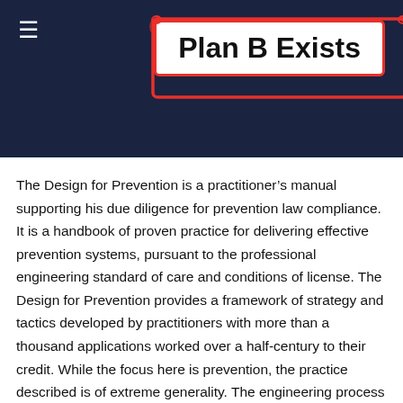Plan B Exists
The Design for Prevention is a practitioner’s manual supporting his due diligence for prevention law compliance. It is a handbook of proven practice for delivering effective prevention systems, pursuant to the professional engineering standard of care and conditions of license. The Design for Prevention provides a framework of strategy and tactics developed by practitioners with more than a thousand applications worked over a half-century to their credit. While the focus here is prevention, the practice described is of extreme generality. The engineering process is the assault on complexity.
Since no institution can come to grips with forming a standard of care that translates from the primary function to the need for...